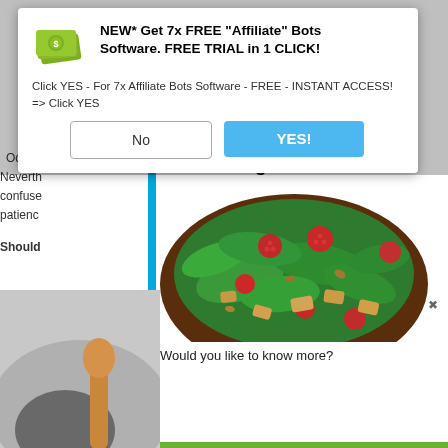[Figure (screenshot): Pop-up advertisement dialog box with money icon, bold headline 'NEW* Get 7x FREE Affiliate Bots Software. FREE TRIAL in 1 CLICK!', subtitle text, and two buttons: 'No' and 'YES!']
Fat Burning Kitchen
[Figure (photo): Photo of a salad bowl with spinach, raspberries, croutons, nuts, and other toppings on a dark wooden plate]
Would you like to know more?
Occasi...
Neverth...
confuse...
patienc...
Should...